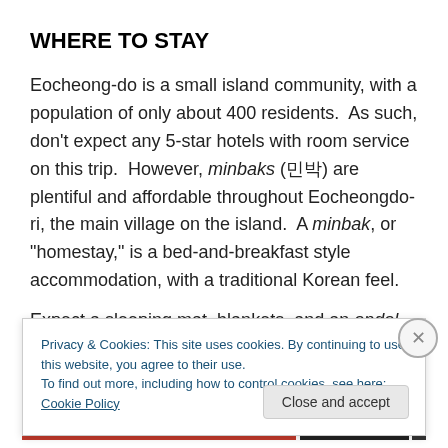WHERE TO STAY
Eocheong-do is a small island community, with a population of only about 400 residents.  As such, don't expect any 5-star hotels with room service on this trip.  However, minbaks (민박) are plentiful and affordable throughout Eocheongdo-ri, the main village on the island.  A minbak, or “homestay,” is a bed-and-breakfast style accommodation, with a traditional Korean feel.
Expect a sleeping mat, blankets, and an ondol-heated
Privacy & Cookies: This site uses cookies. By continuing to use this website, you agree to their use.
To find out more, including how to control cookies, see here: Cookie Policy